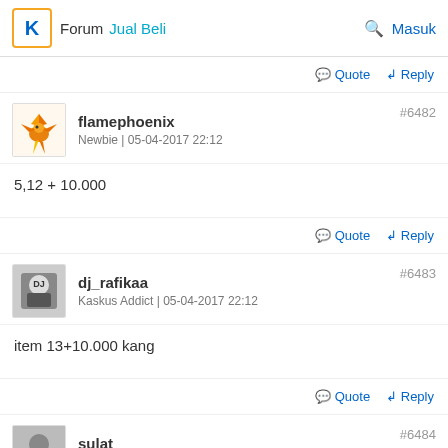Forum Jual Beli — Masuk
Quote  Reply
flamephoenix
Newbie | 05-04-2017 22:12  #6482
5,12 + 10.000
Quote  Reply
dj_rafikaa
Kaskus Addict | 05-04-2017 22:12  #6483
item 13+10.000 kang
Quote  Reply
sulat
Kaskuser | 05-04-2017 22:17  #6484